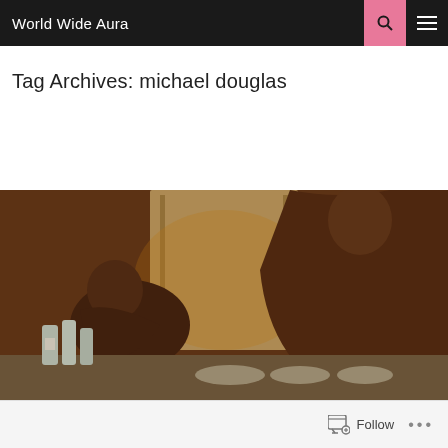World Wide Aura
Tag Archives: michael douglas
[Figure (photo): Warm-toned bathroom scene with two figures, bottles on counter, steam, wooden surroundings]
Follow ...